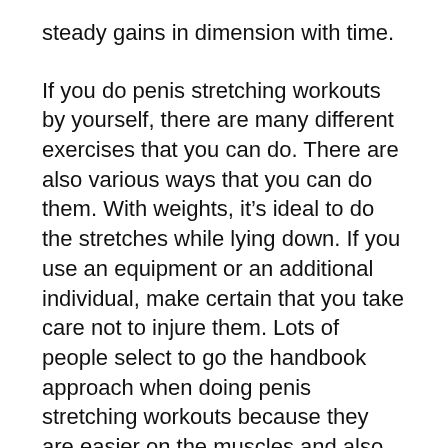steady gains in dimension with time.
If you do penis stretching workouts by yourself, there are many different exercises that you can do. There are also various ways that you can do them. With weights, it’s ideal to do the stretches while lying down. If you use an equipment or an additional individual, make certain that you take care not to injure them. Lots of people select to go the handbook approach when doing penis stretching workouts because they are easier on the muscles and also joints that can be damaged if they are done inaccurately.
To start stretching, you would intend to start by pulling your penis right out and up until you can actually feel the tension in the